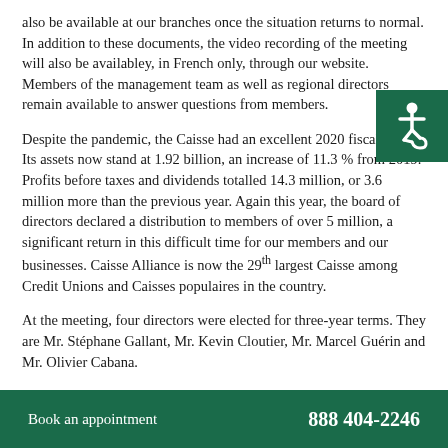also be available at our branches once the situation returns to normal. In addition to these documents, the video recording of the meeting will also be availabley, in French only, through our website. Members of the management team as well as regional directors remain available to answer questions from members.
Despite the pandemic, the Caisse had an excellent 2020 fiscal year. Its assets now stand at 1.92 billion, an increase of 11.3 % from 2019. Profits before taxes and dividends totalled 14.3 million, or 3.6 million more than the previous year. Again this year, the board of directors declared a distribution to members of over 5 million, a significant return in this difficult time for our members and our businesses. Caisse Alliance is now the 29th largest Caisse among Credit Unions and Caisses populaires in the country.
At the meeting, four directors were elected for three-year terms. They are Mr. Stéphane Gallant, Mr. Kevin Cloutier, Mr. Marcel Guérin and Mr. Olivier Cabana.
Book an appointment   888 404-2246